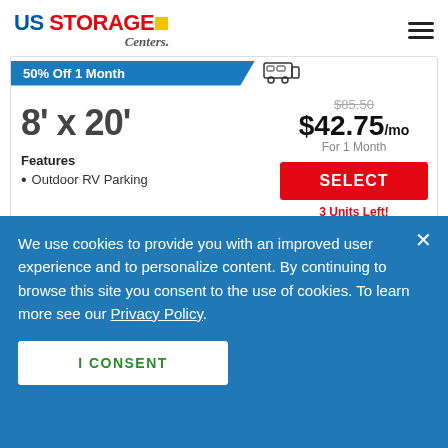[Figure (logo): US Storage Centers logo with blue 'US', red 'STORAGE', yellow square, and cursive 'Centers' wordmark]
50% Off 1 Month
8' x 20'
$85.50 (strikethrough)
$42.75/mo For 1 Month
Features
Outdoor RV Parking
SELECT
3 Units Left! Act Now!
We use cookies to provide you with an improved user experience and to personalize content. By continuing to browse this site you consent to the use of cookies. To learn more see our Privacy Policy.
I CONSENT